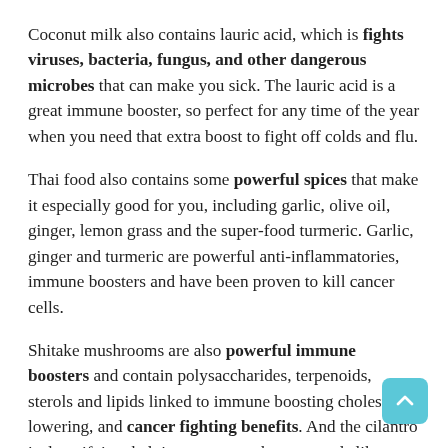Coconut milk also contains lauric acid, which is fights viruses, bacteria, fungus, and other dangerous microbes that can make you sick. The lauric acid is a great immune booster, so perfect for any time of the year when you need that extra boost to fight off colds and flu.
Thai food also contains some powerful spices that make it especially good for you, including garlic, olive oil, ginger, lemon grass and the super-food turmeric. Garlic, ginger and turmeric are powerful anti-inflammatories, immune boosters and have been proven to kill cancer cells.
Shitake mushrooms are also powerful immune boosters and contain polysaccharides, terpenoids, sterols and lipids linked to immune boosting cholesterol lowering, and cancer fighting benefits. And the cilantro is detoxifying, helping to remove heavy metals like mercury.